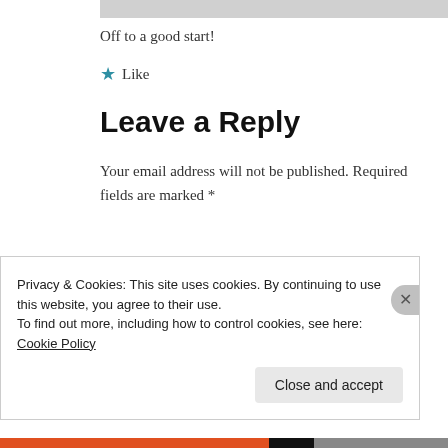Off to a good start!
★ Like
Leave a Reply
Your email address will not be published. Required fields are marked *
Privacy & Cookies: This site uses cookies. By continuing to use this website, you agree to their use.
To find out more, including how to control cookies, see here: Cookie Policy
Close and accept